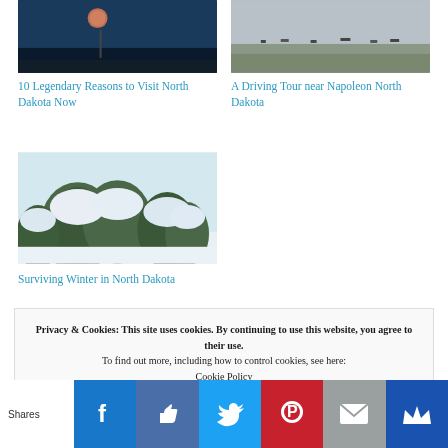[Figure (photo): Night photo with moon, dark blue tones]
[Figure (photo): Landscape photo with animals on flat plains]
10 Legendary Reasons to Visit North Dakota Now
A Driving Tour near Napoleon North Dakota
[Figure (photo): Snow-covered evergreen trees in winter]
Surviving Winter in North Dakota
Privacy & Cookies: This site uses cookies. By continuing to use this website, you agree to their use.
To find out more, including how to control cookies, see here: Cookie Policy
Shares | Facebook | Like | Twitter | Pinterest | Email | Crown